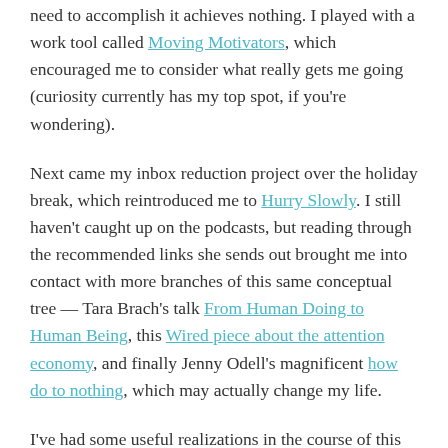need to accomplish it achieves nothing. I played with a work tool called Moving Motivators, which encouraged me to consider what really gets me going (curiosity currently has my top spot, if you're wondering).
Next came my inbox reduction project over the holiday break, which reintroduced me to Hurry Slowly. I still haven't caught up on the podcasts, but reading through the recommended links she sends out brought me into contact with more branches of this same conceptual tree — Tara Brach's talk From Human Doing to Human Being, this Wired piece about the attention economy, and finally Jenny Odell's magnificent how do to nothing, which may actually change my life.
I've had some useful realizations in the course of this inner conversation. Considering the activities that I might categorize as "inhaling" vs "exhaling," I realized that my job is